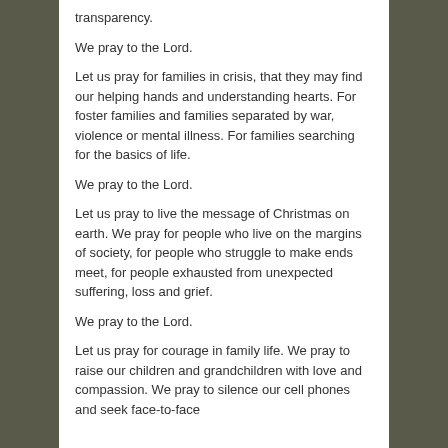transparency.
We pray to the Lord.
Let us pray for families in crisis, that they may find our helping hands and understanding hearts. For foster families and families separated by war, violence or mental illness. For families searching for the basics of life.
We pray to the Lord.
Let us pray to live the message of Christmas on earth. We pray for people who live on the margins of society, for people who struggle to make ends meet, for people exhausted from unexpected suffering, loss and grief.
We pray to the Lord.
Let us pray for courage in family life. We pray to raise our children and grandchildren with love and compassion. We pray to silence our cell phones and seek face-to-face